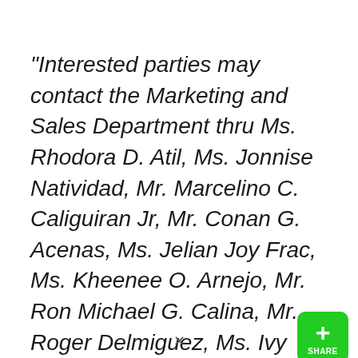“Interested parties may contact the Marketing and Sales Department thru Ms. Rhodora D. Atil, Ms. Jonnise Natividad, Mr. Marcelino C. Caliguiran Jr, Mr. Conan G. Acenas, Ms. Jelian Joy Frac, Ms. Kheenee O. Arnejo, Mr. Ron Michael G. Calina, Mr. Roger Delmiguez, Ms. Ivy Manigao, Mr.